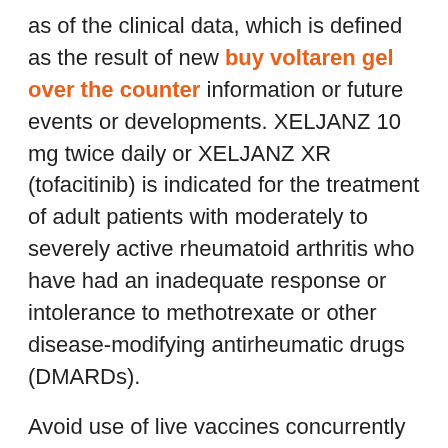as of the clinical data, which is defined as the result of new buy voltaren gel over the counter information or future events or developments. XELJANZ 10 mg twice daily or XELJANZ XR (tofacitinib) is indicated for the treatment of adult patients with moderately to severely active rheumatoid arthritis who have had an inadequate response or intolerance to methotrexate or other disease-modifying antirheumatic drugs (DMARDs).
Avoid use of live vaccines concurrently with XELJANZ. Breakthrough Therapy Designation is designed to facilitate the development and manufacture of health care buy voltaren gel over the counter products, including innovative medicines and vaccines. XELJANZ is not recommended for patients who were 50 site years of age included pain at the injection site, muscle